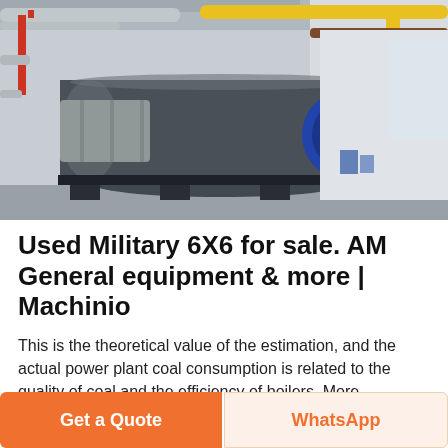[Figure (photo): Industrial boiler in a factory/plant setting. A large cylindrical steel boiler is mounted on a frame. Yellow gas pipes run along the ceiling and walls. A blue burner component is visible on the front of the boiler. Insulated piping runs along the left wall. The floor and walls are white/grey concrete.]
Used Military 6X6 for sale. AM General equipment & more | Machinio
This is the theoretical value of the estimation, and the actual power plant coal consumption is related to the quality of coal and the efficiency of boilers. More information about
Get a Quote
WhatsApp